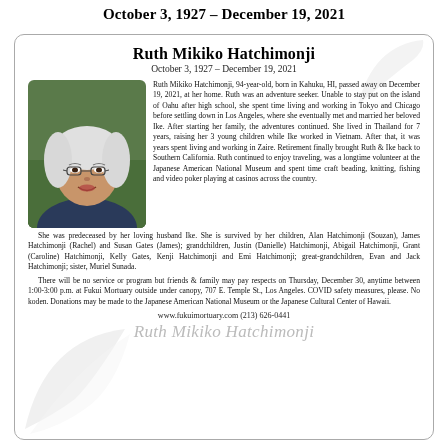October 3, 1927 – December 19, 2021
Ruth Mikiko Hatchimonji
October 3, 1927 – December 19, 2021
[Figure (photo): Portrait photo of Ruth Mikiko Hatchimonji, an elderly woman with short white hair and glasses, smiling, outdoors with greenery in background.]
Ruth Mikiko Hatchimonji, 94-year-old, born in Kahuku, HI, passed away on December 19, 2021, at her home. Ruth was an adventure seeker. Unable to stay put on the island of Oahu after high school, she spent time living and working in Tokyo and Chicago before settling down in Los Angeles, where she eventually met and married her beloved Ike. After starting her family, the adventures continued. She lived in Thailand for 7 years, raising her 3 young children while Ike worked in Vietnam. After that, it was years spent living and working in Zaire. Retirement finally brought Ruth & Ike back to Southern California. Ruth continued to enjoy traveling, was a longtime volunteer at the Japanese American National Museum and spent time craft beading, knitting, fishing and video poker playing at casinos across the country.
She was predeceased by her loving husband Ike. She is survived by her children, Alan Hatchimonji (Souzan), James Hatchimonji (Rachel) and Susan Gates (James); grandchildren, Justin (Danielle) Hatchimonji, Abigail Hatchimonji, Grant (Caroline) Hatchimonji, Kelly Gates, Kenji Hatchimonji and Emi Hatchimonji; great-grandchildren, Evan and Jack Hatchimonji; sister, Muriel Sunada.
There will be no service or program but friends & family may pay respects on Thursday, December 30, anytime between 1:00-3:00 p.m. at Fukui Mortuary outside under canopy, 707 E. Temple St., Los Angeles. COVID safety measures, please. No koden. Donations may be made to the Japanese American National Museum or the Japanese Cultural Center of Hawaii.
www.fukuimortuary.com (213) 626-0441
Ruth Mikiko Hatchimonji